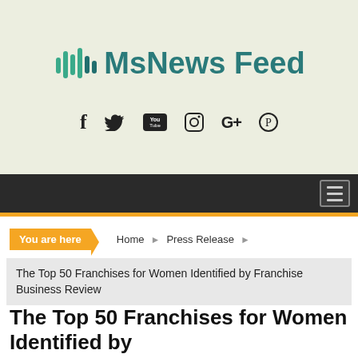[Figure (logo): MsNews Feed logo with green/teal waveform icon and teal bold text]
[Figure (infographic): Social media icons: Facebook, Twitter, YouTube, Instagram, Google+, Pinterest]
Navigation bar with hamburger menu icon
You are here  Home  Press Release  The Top 50 Franchises for Women Identified by Franchise Business Review
The Top 50 Franchises for Women Identified by